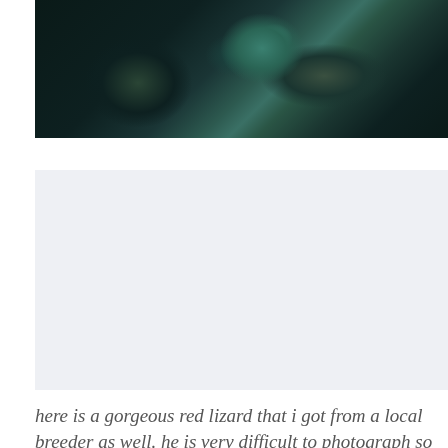[Figure (photo): Dark close-up photo with a dark background, featuring what appears to be a teal/green colored lizard or reptile, mostly out of focus with bokeh effect]
[Figure (photo): Light gray/blue-tinted rectangular placeholder image, possibly a second photo of the red lizard that is mostly blank or very light]
here is a gorgeous red lizard that i got from a local breeder as well. he is very difficult to photograph so this is the only close up i could get...